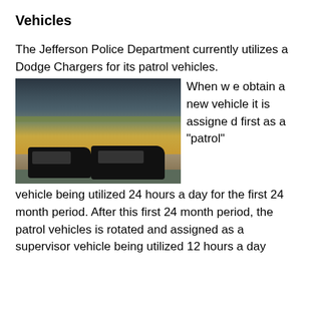Vehicles
The Jefferson Police Department currently utilizes a Dodge Chargers for its patrol vehicles.
[Figure (photo): Two black and white patrol police cars (Dodge Chargers) parked on a dirt road with a harvested field and dramatic stormy sky in the background.]
When we obtain a new vehicle it is assigned first as a "patrol" vehicle being utilized 24 hours a day for the first 24 month period. After this first 24 month period, the patrol vehicles is rotated and assigned as a supervisor vehicle being utilized 12 hours a day